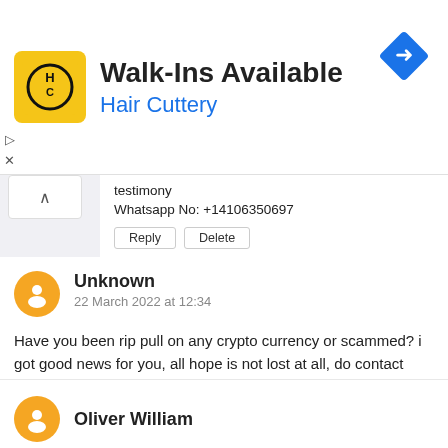[Figure (logo): Hair Cuttery advertisement banner with HC logo, Walk-Ins Available text, and a navigation arrow icon]
testimony
Whatsapp No: +14106350697
Reply  Delete
Unknown
22 March 2022 at 12:34
Have you been rip pull on any crypto currency or scammed? i got good news for you, all hope is not lost at all, do contact wizardharry@programmer.net or whatsApp +18078086168 for the recovery of funds and you can also hire him for mobile spy penetration incase you need any access to spy on any device anonymously. he recovered my lost funds.
Reply  Delete
Oliver William